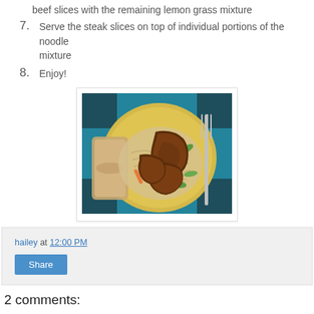beef slices with the remaining lemon grass mixture
7. Serve the steak slices on top of individual portions of the noodle mixture
8. Enjoy!
[Figure (photo): A yellow plate with steak slices served on noodle mixture with vegetables (carrots, snap peas), bread roll on the side, fork visible, on a teal knit placemat]
hailey at 12:00 PM
Share
2 comments: